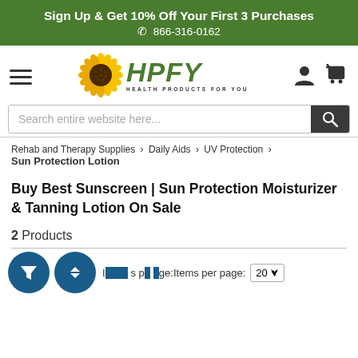Sign Up & Get 10% Off Your First 3 Purchases
☎ 866-316-0162
[Figure (logo): HPFY Health Products For You logo with sunflower, navigation hamburger menu, user and cart icons]
Search entire website here...
Rehab and Therapy Supplies > Daily Aids > UV Protection > Sun Protection Lotion
Buy Best Sunscreen | Sun Protection Moisturizer & Tanning Lotion On Sale
2 Products
Items per page: 20